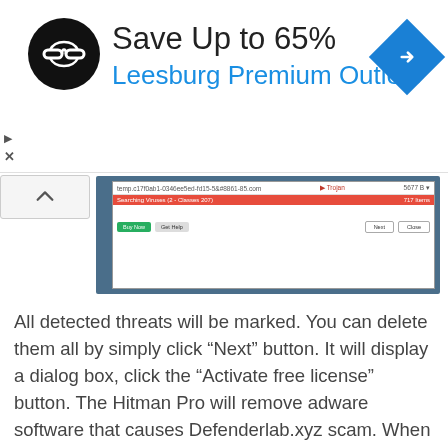[Figure (screenshot): Advertisement banner: Save Up to 65% Leesburg Premium Outlets with logo and navigation arrow icon]
[Figure (screenshot): Screenshot of HitmanPro scan results dialog showing a detected threat (Trojan) with Buy Now, Get Help, Next, and Close buttons]
All detected threats will be marked. You can delete them all by simply click “Next” button. It will display a dialog box, click the “Activate free license” button. The Hitman Pro will remove adware software that causes Defenderlab.xyz scam. When the process is done, the utility may ask you to reboot your PC system.
Stop Defenderlab.xyz pop-ups
If you want to delete unwanted advertisements, malicious browser